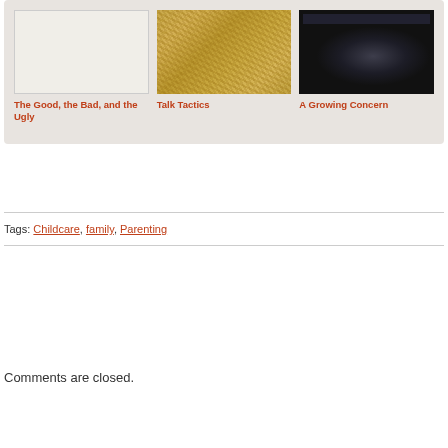[Figure (infographic): Related posts panel with beige/tan background showing three related articles with thumbnail images and titles: 'The Good, the Bad, and the Ugly' (blank white thumbnail), 'Talk Tactics' (straw/hay photo thumbnail), 'A Growing Concern' (ultrasound image thumbnail). Titles are in orange-red bold text.]
Tags: Childcare, family, Parenting
Comments are closed.